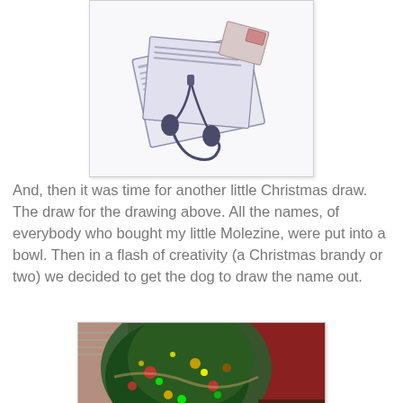[Figure (illustration): A pencil or pen drawing showing a notebook/journal with earbuds/headphones draped over it, along with what appears to be cards or papers. The illustration is done in blue-gray tones on white background.]
And, then it was time for another little Christmas draw. The draw for the drawing above. All the names, of everybody who bought my little Molezine, were put into a bowl. Then in a flash of creativity (a Christmas brandy or two) we decided to get the dog to draw the name out.
[Figure (photo): A blurry photograph of a decorated Christmas tree with colorful ornaments and lights. The background shows a red wall or curtain. The image is cropped showing the middle-lower portion of the tree.]